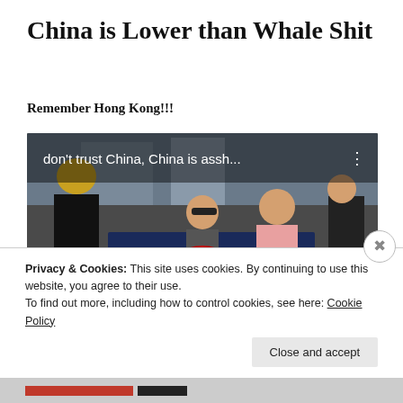China is Lower than Whale Shit
Remember Hong Kong!!!
[Figure (screenshot): Embedded YouTube video thumbnail showing Hong Kong protest scene. People holding a flag with Chinese characters and 'HONG KO...' text. Overlay text reads "don't trust China, China is assh..." with a YouTube play button in the center.]
Privacy & Cookies: This site uses cookies. By continuing to use this website, you agree to their use.
To find out more, including how to control cookies, see here: Cookie Policy
Close and accept